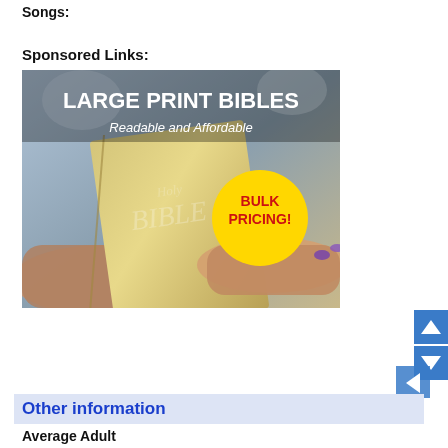Songs:
Sponsored Links:
[Figure (photo): Advertisement for Large Print Bibles showing hands holding a NIV Holy Bible with text 'LARGE PRINT BIBLES - Readable and Affordable' and a yellow circle badge reading 'BULK PRICING!']
[Figure (other): Scroll navigation widget with blue up and down arrow buttons]
Other information
Average Adult